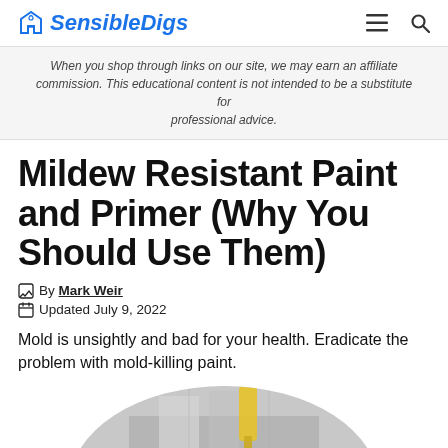SensibleDigs
When you shop through links on our site, we may earn an affiliate commission. This educational content is not intended to be a substitute for professional advice.
Mildew Resistant Paint and Primer (Why You Should Use Them)
By Mark Weir
Updated July 9, 2022
Mold is unsightly and bad for your health. Eradicate the problem with mold-killing paint.
[Figure (photo): Circular cropped photo showing a person painting a wall with a yellow-handled roller brush]